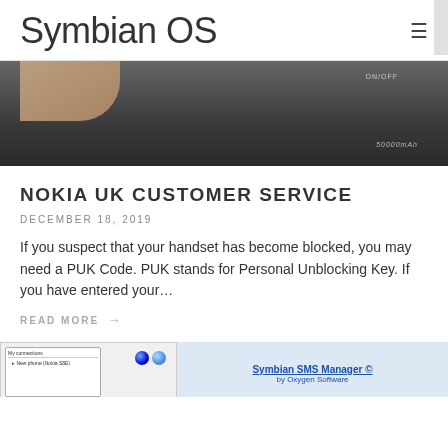Symbian OS
[Figure (photo): Close-up photo of a black portable power bank device showing ON/OFF label and 50000mAh text with a hand touching the top edge]
NOKIA UK CUSTOMER SERVICE
DECEMBER 18, 2019
If you suspect that your handset has become blocked, you may need a PUK Code. PUK stands for Personal Unblocking Key. If you have entered your…
READ MORE →
[Figure (screenshot): Partial screenshot of Symbian SMS Manager software by Oxygen Software showing a Windows application interface with phone connection options and blue spherical icons]